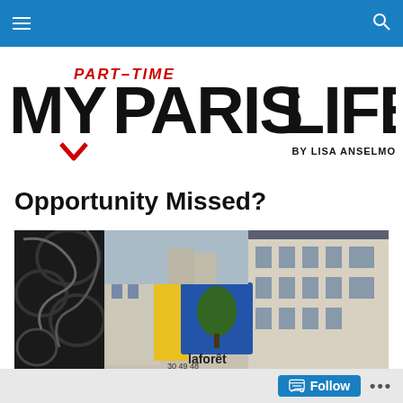My Part-Time Paris Life by Lisa Anselmo — navigation bar
[Figure (logo): Blog logo: 'PART-TIME' in red italic above 'MY PARIS LIFE' in large black bold text with red chevron accent, 'BY LISA ANSELMO' in small caps below right]
Opportunity Missed?
[Figure (photo): Street-level photograph of a Paris real estate sign reading 'vendu laforêt' (sold) in yellow and blue, with ornate black iron scrollwork in the foreground and Haussmann-style buildings lining a narrow Paris street in the background]
Follow  •••